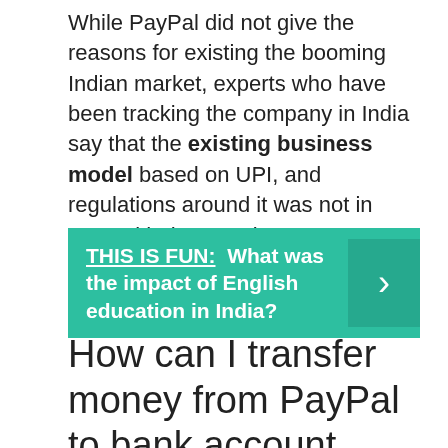While PayPal did not give the reasons for existing the booming Indian market, experts who have been tracking the company in India say that the existing business model based on UPI, and regulations around it was not in sync with the American company's ambitions.
THIS IS FUN: What was the impact of English education in India?
How can I transfer money from PayPal to bank account 2021 in India?
From PayPal how...